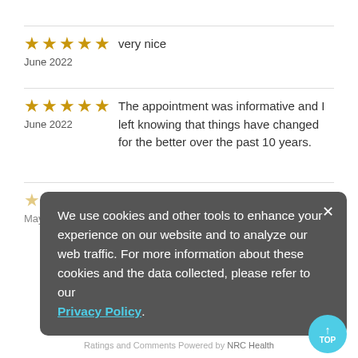★★★★★  very nice
June 2022
★★★★★  The appointment was informative and I left knowing that things have changed for the better over the past 10 years.
June 2022
★★  May 2022
We use cookies and other tools to enhance your experience on our website and to analyze our web traffic. For more information about these cookies and the data collected, please refer to our Privacy Policy.
Ratings and Comments Powered by NRC Health